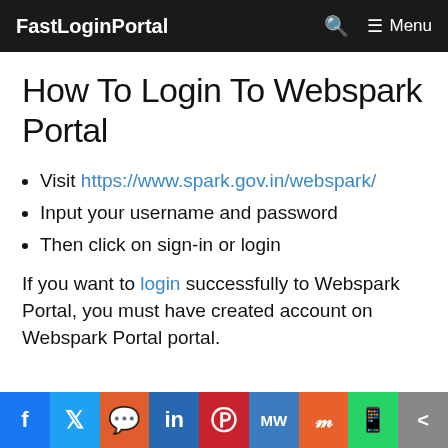FastLoginPortal  🔍  ☰ Menu
How To Login To Webspark Portal
Visit https://www.spark.gov.in/webspark/
Input your username and password
Then click on sign-in or login
If you want to login successfully to Webspark Portal, you must have created account on Webspark Portal portal.